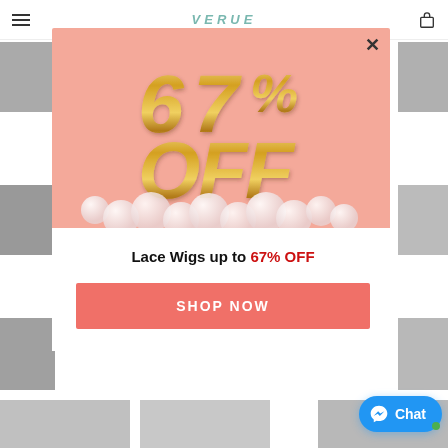[Figure (screenshot): E-commerce website screenshot showing a popup modal with 67% OFF discount offer for Lace Wigs, with pink background image showing gold balloon letters, white modal body with promotional text, a coral 'SHOP NOW' button, and a blue Messenger Chat button in the corner.]
Lace Wigs up to 67% OFF
SHOP NOW
Chat